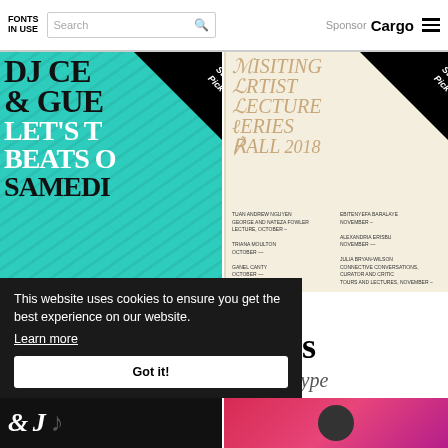FONTS IN USE | Search | Sponsor Cargo
[Figure (illustration): Teal/turquoise poster with bold serif text: DJ CE & GUE LET'S T BEATS O SAMEDI in black and white on teal background, with Staff Pick badge in top-right corner]
NewParis
[Figure (illustration): Cream/beige poster for Visiting Artist Lecture Series Fall 2018 with decorative italic serif typography in gold/tan color, listing speakers: Tuan Andrew Nguyen, George and Nateza Fowler, Triana Moulton, Ganel Canty, Ebitenyefa Baralaye, Alexandria Erisbu, Julia Bryan-Wilson. Staff Pick badge in top-right corner.]
nostra
Sages
entified type
This website uses cookies to ensure you get the best experience on our website.
Learn more
Got it!